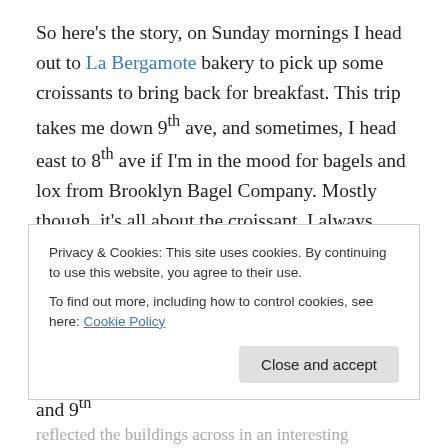So here's the story, on Sunday mornings I head out to La Bergamote bakery to pick up some croissants to bring back for breakfast. This trip takes me down 9th ave, and sometimes, I head east to 8th ave if I'm in the mood for bagels and lox from Brooklyn Bagel Company. Mostly though, it's all about the croissant. I always grab my camera, because La Bergamote is in the heart of Chelsea and the architecture and tree lined streets is just perfect in so many ways. It was early on this particular Sunday morning, and cloudless. On the Corner of 22nd and 9th
Privacy & Cookies: This site uses cookies. By continuing to use this website, you agree to their use.
To find out more, including how to control cookies, see here: Cookie Policy
reflected the buildings across in an interesting